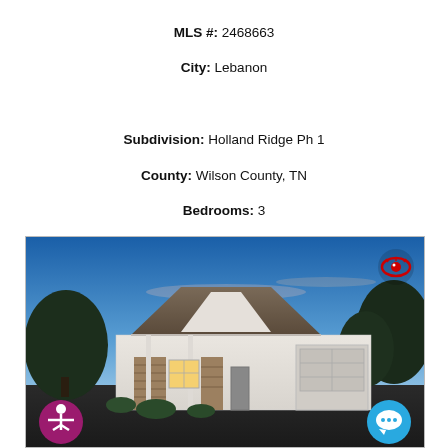MLS #: 2468663
City: Lebanon
Subdivision: Holland Ridge Ph 1
County: Wilson County, TN
Bedrooms: 3
Bathrooms: 2.50
Type: Residential
Elementary: Stoner Creek Elementary
Middle: West Wilson Middle School
High: Wilson Central High School
[Figure (photo): Exterior photo of a single-story residential home with white siding, stone accents, covered front porch with columns, two-car garage, photographed at dusk with blue sky in the background. A red eye icon appears in the top-right corner, an accessibility icon in the bottom-left, and a chat icon in the bottom-right of the image.]